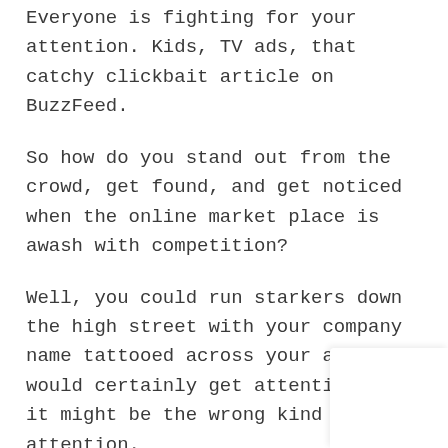Everyone is fighting for your attention. Kids, TV ads, that catchy clickbait article on BuzzFeed.
So how do you stand out from the crowd, get found, and get noticed when the online market place is awash with competition?
Well, you could run starkers down the high street with your company name tattooed across your arse. It would certainly get attention but it might be the wrong kind of attention.